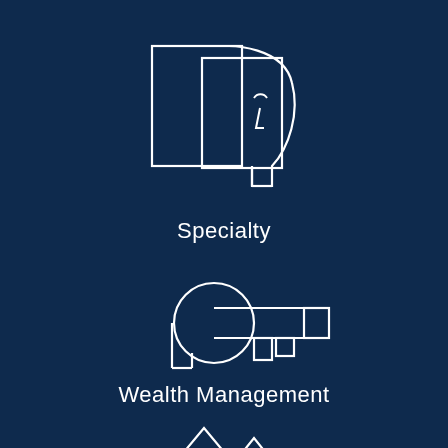[Figure (illustration): Line art icon of a human head profile overlapping with a rectangular document/frame, drawn in white on dark navy background. Represents 'Specialty' category.]
Specialty
[Figure (illustration): Line art icon of a key (with a circle for the bow and rectangular teeth) drawn in white on dark navy background. Represents 'Wealth Management' category.]
Wealth Management
[Figure (illustration): Partial line art icon visible at bottom of page, appears to show mountains or a landscape with a circular element, drawn in white on dark navy background.]